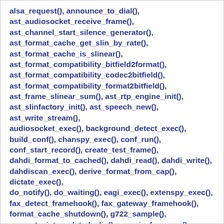alsa_request(), announce_to_dial(), ast_audiosocket_receive_frame(), ast_channel_start_silence_generator(), ast_format_cache_get_slin_by_rate(), ast_format_cache_is_slinear(), ast_format_compatibility_bitfield2format(), ast_format_compatibility_codec2bitfield(), ast_format_compatibility_format2bitfield(), ast_frame_slinear_sum(), ast_rtp_engine_init(), ast_slinfactory_init(), ast_speech_new(), ast_write_stream(), audiosocket_exec(), background_detect_exec(), build_conf(), chanspy_exec(), conf_run(), conf_start_record(), create_test_frame(), dahdi_format_to_cached(), dahdi_read(), dahdi_write(), dahdiscan_exec(), derive_format_from_cap(), dictate_exec(), do_notify(), do_waiting(), eagi_exec(), extenspy_exec(), fax_detect_framehook(), fax_gateway_framehook(), format_cache_shutdown(), g722_sample(), generate_interpolated_slin(), generic_fax_exec(), generic_recall(), handle_participant_join(), handle_participant_kick(),